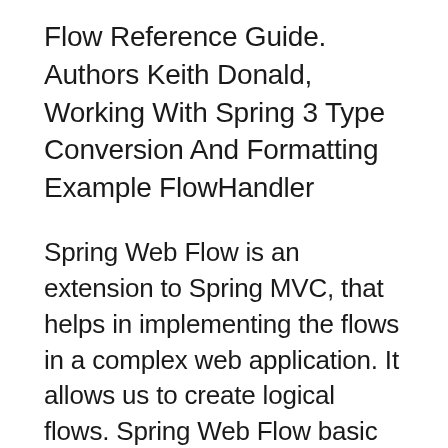Flow Reference Guide. Authors Keith Donald, Working With Spring 3 Type Conversion And Formatting Example FlowHandler
Spring Web Flow is an extension to Spring MVC, that helps in implementing the flows in a complex web application. It allows us to create logical flows. Spring Web Flow basic example 07 Jul. Visit my new website We are going to explain our file structure within Spring WebFlow.
22/05/2014 · This post is a feasibility study to see how we can extend the Spring Webflow functionality so it can help us more with Extremely Ajaxified Web Applications 18/07/2012 · Hello World Example in Spring Web Flow I been looking for a Hello World Example in